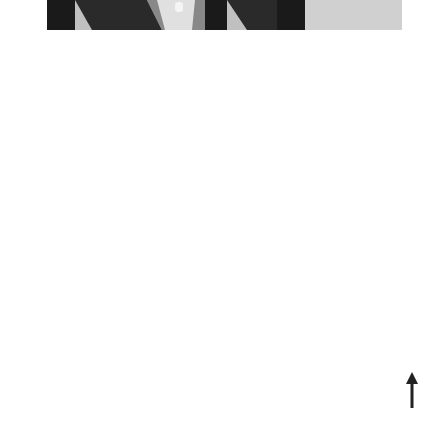[Figure (photo): Partial black and white photograph showing a figure or person cropped at the top of the page, with dark vertical elements and a lighter central area. The image is cropped so only the lower portion of the figure is visible at the very top of the page.]
[Figure (other): A small upward-pointing arrow symbol located in the lower-right area of the page.]